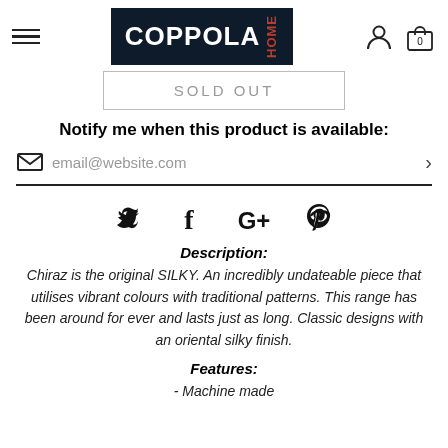Coppola Home — navigation header with logo
SOLD OUT
Notify me when this product is available:
email@website.com
[Figure (other): Social sharing icons: Twitter, Facebook, Google+, Pinterest]
Description:
Chiraz is the original SILKY. An incredibly undateable piece that utilises vibrant colours with traditional patterns. This range has been around for ever and lasts just as long. Classic designs with an oriental silky finish.
Features:
- Machine made